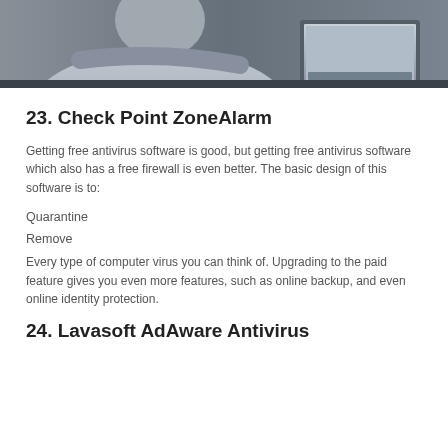[Figure (photo): Person working on a laptop at a desk, grayscale/muted tones, cropped to show upper body and laptop screen]
23. Check Point ZoneAlarm
Getting free antivirus software is good, but getting free antivirus software which also has a free firewall is even better. The basic design of this software is to:
Quarantine
Remove
Every type of computer virus you can think of. Upgrading to the paid feature gives you even more features, such as online backup, and even online identity protection.
24. Lavasoft AdAware Antivirus